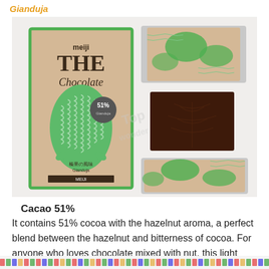Gianduja
[Figure (photo): Product photo of Meiji THE Chocolate Gianduja (Cacao 51%) showing the kraft paper box with green cacao pod illustration, a wrapped chocolate mini bar with green leaf pattern, and an unwrapped dark chocolate square piece.]
Cacao 51%
It contains 51% cocoa with the hazelnut aroma, a perfect blend between the hazelnut and bitterness of cocoa. For anyone who loves chocolate mixed with nut, this light green box is definitely made for you.